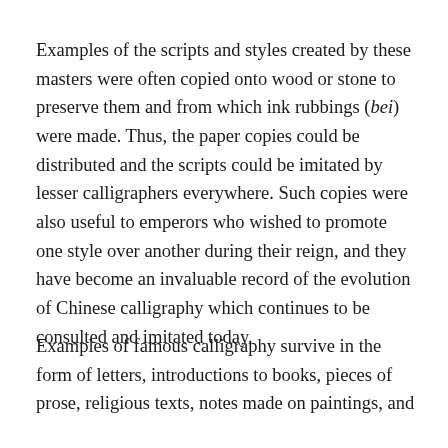Examples of the scripts and styles created by these masters were often copied onto wood or stone to preserve them and from which ink rubbings (bei) were made. Thus, the paper copies could be distributed and the scripts could be imitated by lesser calligraphers everywhere. Such copies were also useful to emperors who wished to promote one style over another during their reign, and they have become an invaluable record of the evolution of Chinese calligraphy which continues to be consulted and imitated today.
Examples of famous calligraphy survive in the form of letters, introductions to books, pieces of prose, religious texts, notes made on paintings, and